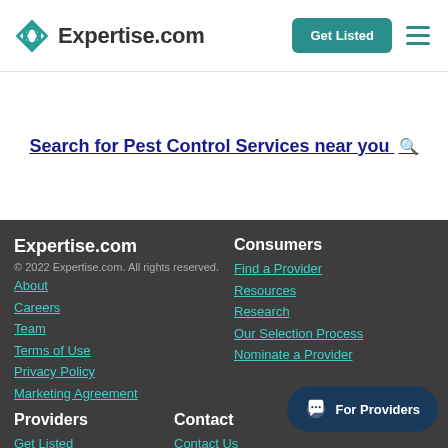Expertise.com | Get Listed
Search for Pest Control Services near you 🔍
Expertise.com
© 2022 Expertise.com. All rights reserved.
About
Careers
Team
Terms of Use
Privacy Policy
Marketing Agreement
Consumers
Find a Provider
Resources
Research
Our Selection Process
Nominate a Provider
Providers
Get Listed
Update My Listing
Contact
Contact Us
(877)-769-7769
For Providers